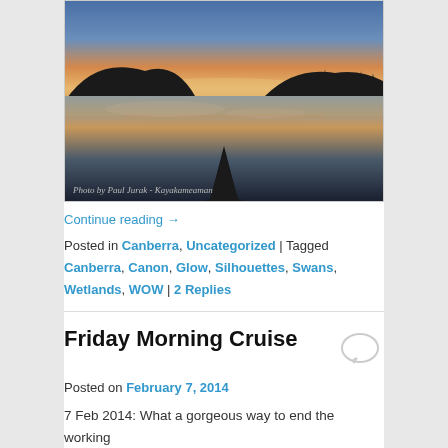[Figure (photo): Kayak bow pointing across a calm misty lake at dawn/dusk with silhouetted hills and warm orange-yellow sky reflected on water. Photo credit: Photo by Paul Jurak - Kayakameaman]
Continue reading →
Posted in Canberra, Uncategorized | Tagged Canberra, Canon, Glow, Silhouettes, Swans, Wetlands, WOW | 2 Replies
Friday Morning Cruise
Posted on February 7, 2014
7 Feb 2014: What a gorgeous way to end the working